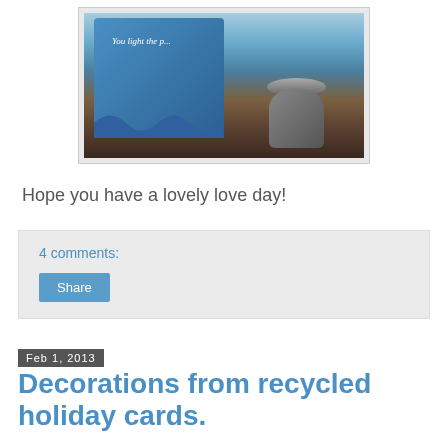[Figure (photo): Photo of holiday greeting cards propped up on a wooden surface, one blue card visible with text 'You light the...' and a cylindrical stand]
Hope you have a lovely love day!
4 comments:
Share
Feb 1, 2013
Decorations from recycled holiday cards.
[Figure (photo): Photo of two spherical decorations made from recycled holiday cards, hanging against a light background]